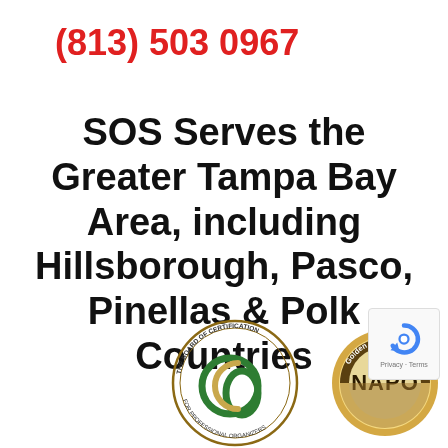(813) 503 0967
SOS Serves the Greater Tampa Bay Area, including Hillsborough, Pasco, Pinellas & Polk Countries
[Figure (logo): Board of Certification for Professional Organizers circular logo with green and gold design]
[Figure (logo): Golden NAPO circular badge logo]
[Figure (other): Google reCAPTCHA widget with Privacy and Terms text]